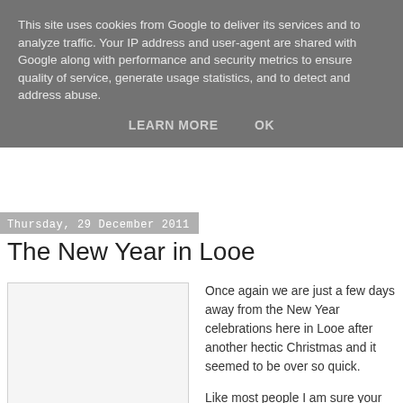This site uses cookies from Google to deliver its services and to analyze traffic. Your IP address and user-agent are shared with Google along with performance and security metrics to ensure quality of service, generate usage statistics, and to detect and address abuse.
LEARN MORE    OK
Thursday, 29 December 2011
The New Year in Looe
[Figure (photo): Image placeholder with light gray background and thin border]
Once again we are just a few days away from the New Year celebrations here in Looe after another hectic Christmas and it seemed to be over so quick.

Like most people I am sure your house has been full of presents, food and of course sweets of all descriptions and